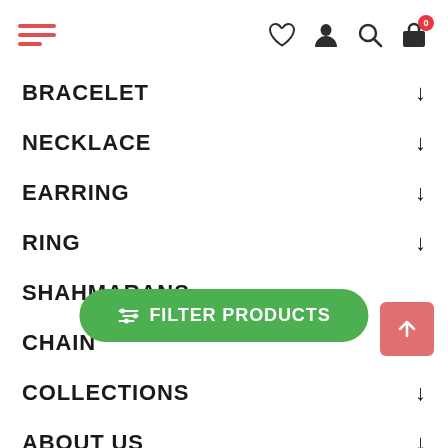Navigation menu header with hamburger menu and icons (heart, person, search, cart with badge 0)
BRACELET
NECKLACE
EARRING
RING
SHAHMARANS
CHAIN
COLLECTIONS
ABOUT US
CUSTOMER SERVICE
COLLECTIONS
[Figure (other): Green pill-shaped Filter Products button with sliders icon and back-to-top pink button]